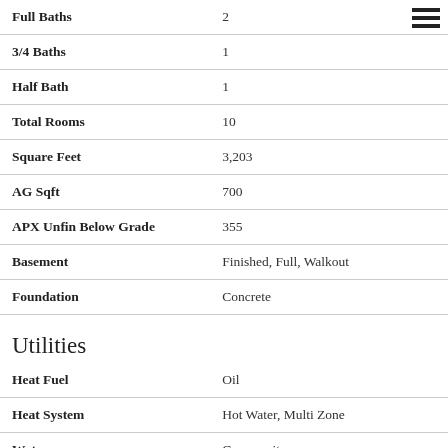| Field | Value |
| --- | --- |
| Full Baths | 2 |
| 3/4 Baths | 1 |
| Half Bath | 1 |
| Total Rooms | 10 |
| Square Feet | 3,203 |
| AG Sqft | 700 |
| APX Unfin Below Grade | 355 |
| Basement | Finished, Full, Walkout |
| Foundation | Concrete |
Utilities
| Field | Value |
| --- | --- |
| Heat Fuel | Oil |
| Heat System | Hot Water, Multi Zone |
| Water | Community |